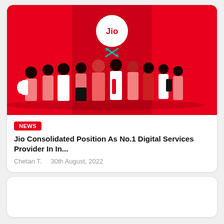[Figure (illustration): Jio branded red background illustration showing a group of people standing in line viewed from behind, with Jio logo (white circle with 'Jio' text) and a missed call icon below it on a red smartphone-shaped panel.]
NEWS
Jio Consolidated Position As No.1 Digital Services Provider In In...
Chetan T.    30th August, 2022